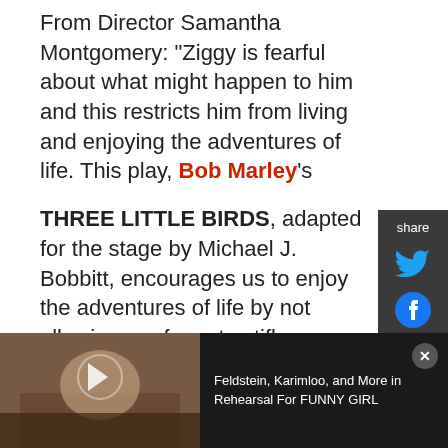From Director Samantha Montgomery: "Ziggy is fearful about what might happen to him and this restricts him from living and enjoying the adventures of life. This play, Bob Marley's
THREE LITTLE BIRDS, adapted for the stage by Michael J. Bobbitt, encourages us to enjoy the adventures of life by not allowing our fears to stifle us. Instead, we must rebuild ourselves and overcome our fears by finding the strength within ourselves to make bravery our only choice."
[Figure (screenshot): Share sidebar with Twitter and Facebook icons on dark background]
[Figure (screenshot): Advertisement strip with play/close icons and Polk logo text]
[Figure (photo): Video player showing a woman singing in rehearsal, with text: Feldstein, Karimloo, and More in Rehearsal For FUNNY GIRL]